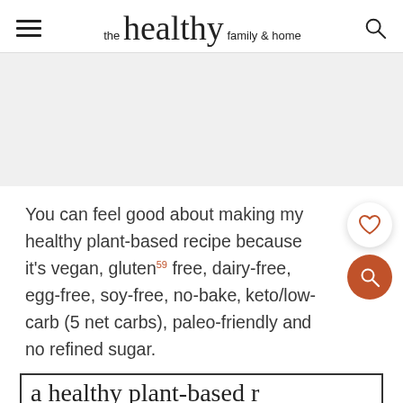the healthy family & home
[Figure (other): Advertisement or image placeholder, light gray background]
You can feel good about making my healthy plant-based recipe because it's vegan, gluten free, dairy-free, egg-free, soy-free, no-bake, keto/low-carb (5 net carbs), paleo-friendly and no refined sugar.
[Figure (other): Partial view of a decorative bordered box with script text at the bottom of the page]